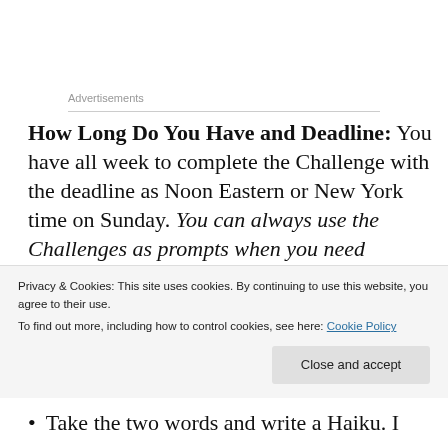Advertisements
How Long Do You Have and Deadline: You have all week to complete the Challenge with the deadline as Noon Eastern or New York time on Sunday. You can always use the Challenges as prompts when you need something to write. I've even had some new people go back and do them all to catch up to
Privacy & Cookies: This site uses cookies. By continuing to use this website, you agree to their use. To find out more, including how to control cookies, see here: Cookie Policy
Close and accept
Take the two words and write a Haiku. I